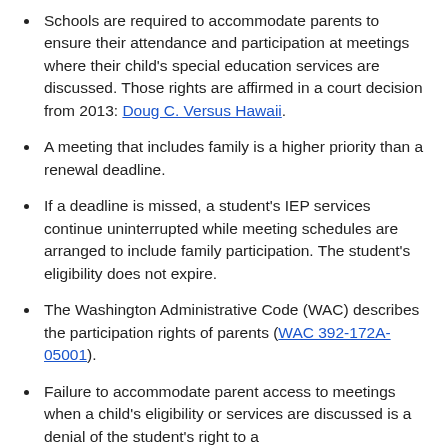Schools are required to accommodate parents to ensure their attendance and participation at meetings where their child's special education services are discussed. Those rights are affirmed in a court decision from 2013: Doug C. Versus Hawaii.
A meeting that includes family is a higher priority than a renewal deadline.
If a deadline is missed, a student's IEP services continue uninterrupted while meeting schedules are arranged to include family participation. The student's eligibility does not expire.
The Washington Administrative Code (WAC) describes the participation rights of parents (WAC 392-172A-05001).
Failure to accommodate parent access to meetings when a child's eligibility or services are discussed is a denial of the student's right to a